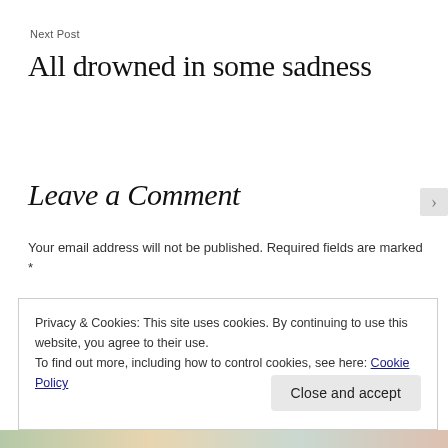Next Post
All drowned in some sadness
Leave a Comment
Your email address will not be published. Required fields are marked *
Privacy & Cookies: This site uses cookies. By continuing to use this website, you agree to their use.
To find out more, including how to control cookies, see here: Cookie Policy
Close and accept